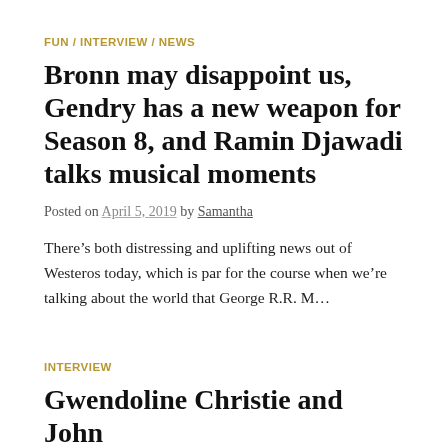FUN / INTERVIEW / NEWS
Bronn may disappoint us, Gendry has a new weapon for Season 8, and Ramin Djawadi talks musical moments
Posted on April 5, 2019 by Samantha
There’s both distressing and uplifting news out of Westeros today, which is par for the course when we’re talking about the world that George R.R. M…
INTERVIEW
Gwendoline Christie and John